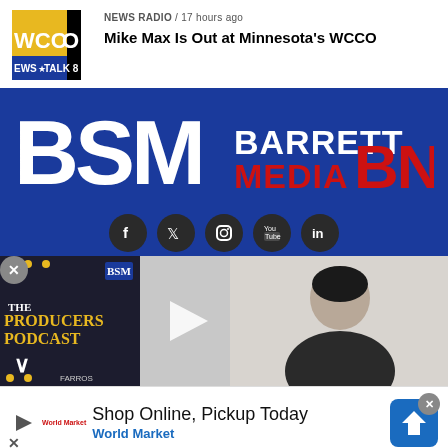[Figure (logo): WCCO News Talk 8 radio station logo - yellow and blue with black bar]
NEWS RADIO / 17 hours ago
Mike Max Is Out at Minnesota's WCCO
[Figure (logo): Barrett Sports Media BSM and BNM logos on dark blue background with social media icons (Facebook, Twitter, Instagram, YouTube, LinkedIn) and video thumbnails below]
[Figure (screenshot): Ad banner: Shop Online, Pickup Today - World Market with play button, brand logo and close buttons]